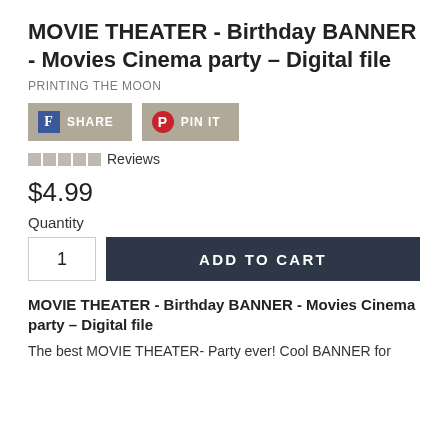MOVIE THEATER - Birthday BANNER - Movies Cinema party – Digital file
PRINTING THE MOON
[Figure (other): Facebook Share button and Pinterest Pin It button]
★★★★★ Reviews
$4.99
Quantity
[Figure (other): Quantity input field showing '1' and ADD TO CART button]
MOVIE THEATER - Birthday BANNER - Movies Cinema party – Digital file
The best MOVIE THEATER- Party ever! Cool BANNER for